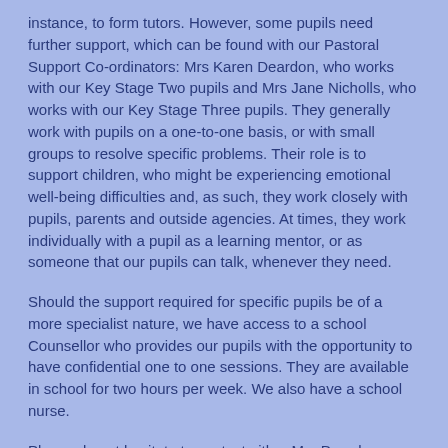instance, to form tutors. However, some pupils need further support, which can be found with our Pastoral Support Co-ordinators: Mrs Karen Deardon, who works with our Key Stage Two pupils and Mrs Jane Nicholls, who works with our Key Stage Three pupils. They generally work with pupils on a one-to-one basis, or with small groups to resolve specific problems. Their role is to support children, who might be experiencing emotional well-being difficulties and, as such, they work closely with pupils, parents and outside agencies. At times, they work individually with a pupil as a learning mentor, or as someone that our pupils can talk, whenever they need.
Should the support required for specific pupils be of a more specialist nature, we have access to a school Counsellor who provides our pupils with the opportunity to have confidential one to one sessions. They are available in school for two hours per week. We also have a school nurse.
Please do not hesitate to contact either Mrs Deardon or Mrs Nicholls if you have any questions regarding the pastoral care of your child. Their email addresses are